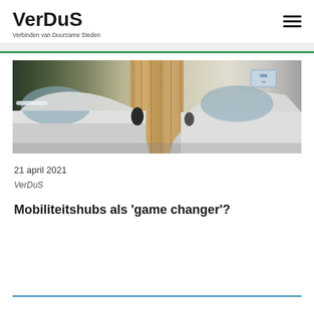VerDuS — Verbinden van Duurzame Steden
[Figure (photo): Photo of two white cars parked close together with wooden/rod structures visible between them, in an indoor setting. A sticker or label is visible on the right car's windshield area.]
21 april 2021
VerDuS
Mobiliteitshubs als 'game changer'?